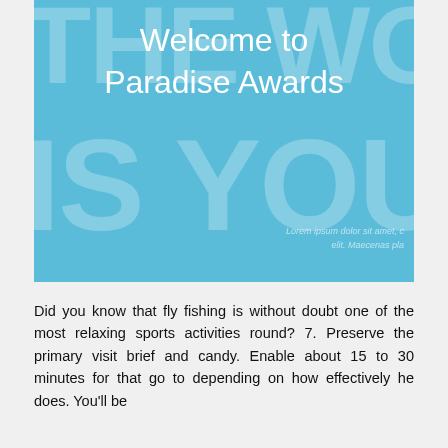[Figure (illustration): Blue banner image with large faded background text 'THE WORLD IS YOU' and overlaid white text reading 'Welcome to Paradise Awards'. Small Lorem ipsum watermark text in lower right corner.]
Did you know that fly fishing is without doubt one of the most relaxing sports activities round? 7. Preserve the primary visit brief and candy. Enable about 15 to 30 minutes for that go to depending on how effectively he does. You'll be